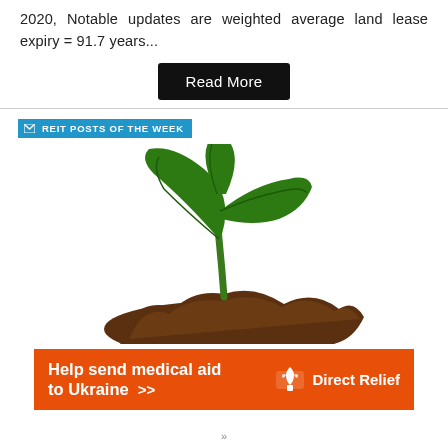2020, Notable updates are weighted average land lease expiry = 91.7 years...
Read More
REIT POSTS OF THE WEEK
[Figure (illustration): A green seedling plant growing from a mound of dark brown soil, depicted as a logo/icon style illustration with two large green leaves.]
[Figure (infographic): Orange advertisement banner reading 'Help send medical aid to Ukraine >>' with Direct Relief logo on the right.]